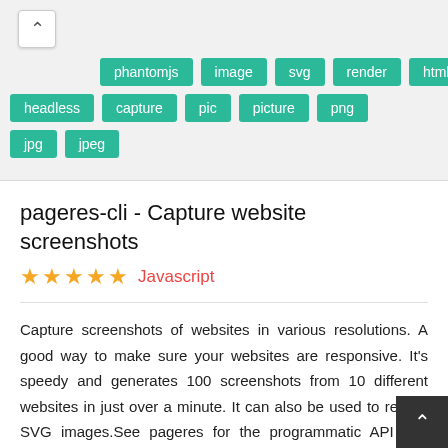[Figure (screenshot): Tag buttons row showing: phantomjs, image, svg, render, html with a collapse arrow button on the left]
phantomjs
image
svg
render
html
headless
capture
pic
picture
png
jpg
jpeg
pageres-cli - Capture website screenshots
Javascript
Capture screenshots of websites in various resolutions. A good way to make sure your websites are responsive. It's speedy and generates 100 screenshots from 10 different websites in just over a minute. It can also be used to render SVG images.See pageres for the programmatic API and issues tracker.